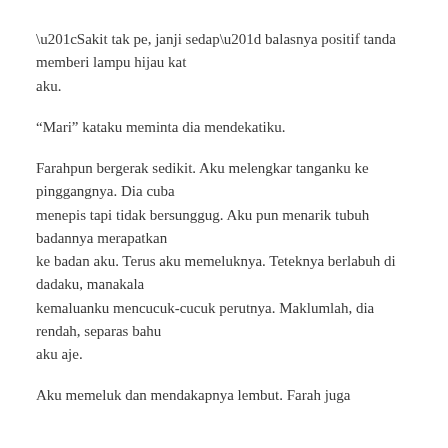“Sakit tak pe, janji sedap” balasnya positif tanda memberi lampu hijau kat aku.
“Mari” kataku meminta dia mendekatiku.
Farahpun bergerak sedikit. Aku melengkar tanganku ke pinggangnya. Dia cuba menepis tapi tidak bersunggug. Aku pun menarik tubuh badannya merapatkan ke badan aku. Terus aku memeluknya. Teteknya berlabuh di dadaku, manakala kemaluanku mencucuk-cucuk perutnya. Maklumlah, dia rendah, separas bahu aku aje.
Aku memeluk dan mendakapnya lembut. Farah juga